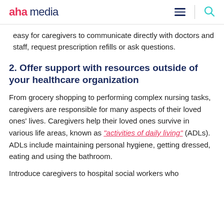aha media
easy for caregivers to communicate directly with doctors and staff, request prescription refills or ask questions.
2. Offer support with resources outside of your healthcare organization
From grocery shopping to performing complex nursing tasks, caregivers are responsible for many aspects of their loved ones' lives. Caregivers help their loved ones survive in various life areas, known as "activities of daily living" (ADLs). ADLs include maintaining personal hygiene, getting dressed, eating and using the bathroom.
Introduce caregivers to hospital social workers who